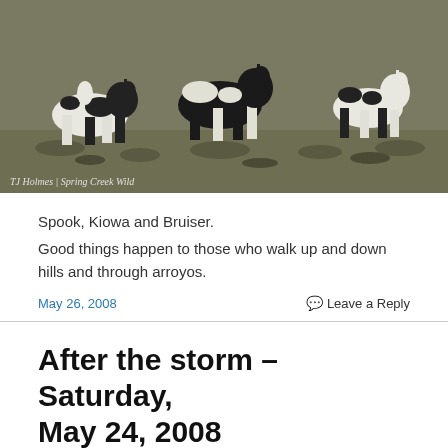[Figure (photo): Three paint horses (Spook, Kiowa and Bruiser) walking in a desert shrubland landscape. Photo credit: TJ Holmes | Spring Creek Wild]
Spook, Kiowa and Bruiser.
Good things happen to those who walk up and down hills and through arroyos.
May 26, 2008
Leave a Reply
After the storm – Saturday, May 24, 2008
[Figure (photo): Partial view of a landscape photo (bottom of page, cut off) showing desert terrain after a storm.]